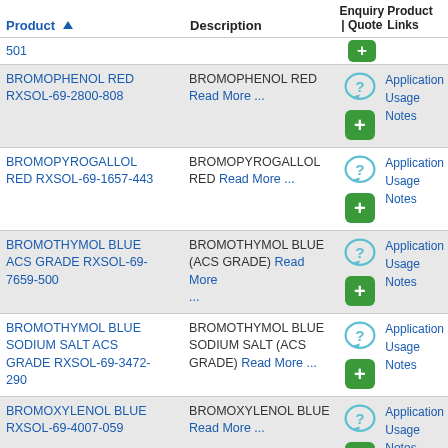| Product | Description | Enquiry | Quote | Product Links |
| --- | --- | --- | --- |
| 501 |  |  |  |
| BROMOPHENOL RED RXSOL-69-2800-808 | BROMOPHENOL RED Read More ... | ?/+ | Application Usage Notes |
| BROMOPYROGALLOL RED RXSOL-69-1657-443 | BROMOPYROGALLOL RED Read More ... | ?/+ | Application Usage Notes |
| BROMOTHYMOL BLUE ACS GRADE RXSOL-69-7659-500 | BROMOTHYMOL BLUE (ACS GRADE) Read More ... | ?/+ | Application Usage Notes |
| BROMOTHYMOL BLUE SODIUM SALT ACS GRADE RXSOL-69-3472-290 | BROMOTHYMOL BLUE SODIUM SALT (ACS GRADE) Read More ... | ?/+ | Application Usage Notes |
| BROMOXYLENOL BLUE RXSOL-69-4007-059 | BROMOXYLENOL BLUE Read More ... | ?/+ | Application Usage Notes |